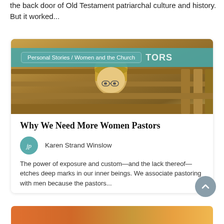the back door of Old Testament patriarchal culture and history. But it worked...
[Figure (photo): A child with blonde hair and glasses peering over a church pew, with a teal navigation bar overlay reading 'Personal Stories / Women and the Church' and 'TORS']
Why We Need More Women Pastors
Karen Strand Winslow
The power of exposure and custom—and the lack thereof—etches deep marks in our inner beings. We associate pastoring with men because the pastors...